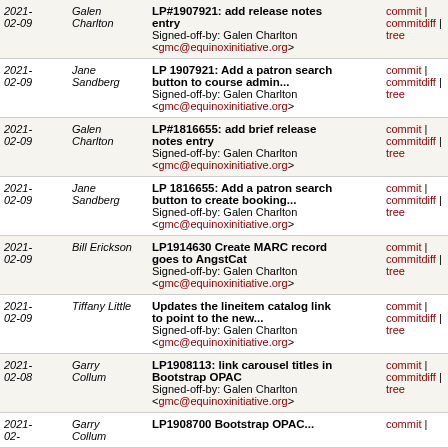| Date | Author | Message | Links |
| --- | --- | --- | --- |
| 2021-02-09 | Galen Charlton | LP#1907921: add release notes entry
Signed-off-by: Galen Charlton <gmc@equinoxinitiative.org> | commit | commitdiff | tree |
| 2021-02-09 | Jane Sandberg | LP 1907921: Add a patron search button to course admin...
Signed-off-by: Galen Charlton <gmc@equinoxinitiative.org> | commit | commitdiff | tree |
| 2021-02-09 | Galen Charlton | LP#1816655: add brief release notes entry
Signed-off-by: Galen Charlton <gmc@equinoxinitiative.org> | commit | commitdiff | tree |
| 2021-02-09 | Jane Sandberg | LP 1816655: Add a patron search button to create booking...
Signed-off-by: Galen Charlton <gmc@equinoxinitiative.org> | commit | commitdiff | tree |
| 2021-02-09 | Bill Erickson | LP1914630 Create MARC record goes to AngstCat
Signed-off-by: Galen Charlton <gmc@equinoxinitiative.org> | commit | commitdiff | tree |
| 2021-02-09 | Tiffany Little | Updates the lineitem catalog link to point to the new...
Signed-off-by: Galen Charlton <gmc@equinoxinitiative.org> | commit | commitdiff | tree |
| 2021-02-08 | Garry Collum | LP1908113: link carousel titles in Bootstrap OPAC
Signed-off-by: Galen Charlton <gmc@equinoxinitiative.org> | commit | commitdiff | tree |
| 2021-... | ... | LP1908700 Bootstrap OPAC ... | commit | ... |